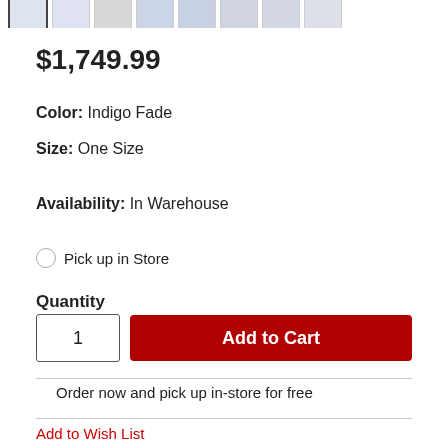[Figure (screenshot): Row of thumbnail product images at top of page, first one selected with border]
$1,749.99
Color:  Indigo Fade
Size:  One Size
Availability:  In Warehouse
Pick up in Store
Quantity
1
Add to Cart
Order now and pick up in-store for free
Add to Wish List